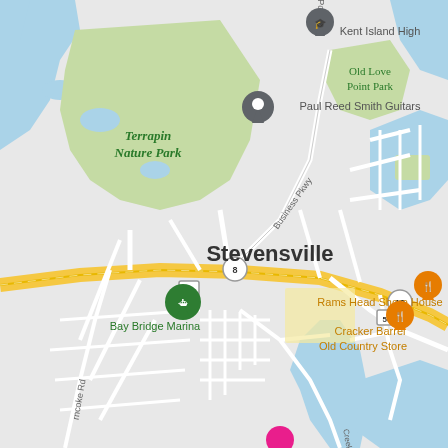[Figure (map): Google Maps screenshot showing Stevensville, Maryland area on Kent Island. Features include Terrapin Nature Park (green area, upper left), Paul Reed Smith Guitars location pin, Kent Island High School (upper right), Old Love Point Park (green, upper right), Business Pkwy road label, Bay Bridge Marina (green pin, left), Route 50 highway (yellow), Route 8 and Route 18 markers, Rams Head Shore House restaurant (orange pin), Cracker Barrel Old Country Store restaurant (orange pin), water bodies shown in blue, and road network in white/gray. The map uses standard Google Maps styling with light gray land, white roads, blue water, and green parks.]